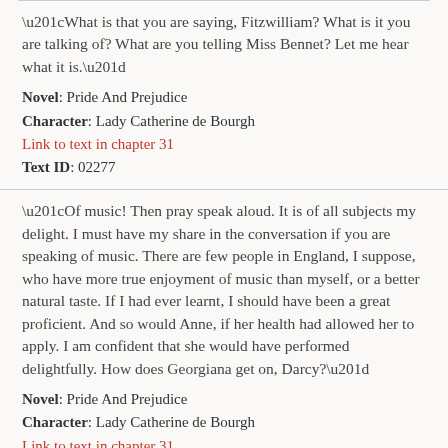“What is that you are saying, Fitzwilliam? What is it you are talking of? What are you telling Miss Bennet? Let me hear what it is.”
Novel: Pride And Prejudice
Character: Lady Catherine de Bourgh
Link to text in chapter 31
Text ID: 02277
“Of music! Then pray speak aloud. It is of all subjects my delight. I must have my share in the conversation if you are speaking of music. There are few people in England, I suppose, who have more true enjoyment of music than myself, or a better natural taste. If I had ever learnt, I should have been a great proficient. And so would Anne, if her health had allowed her to apply. I am confident that she would have performed delightfully. How does Georgiana get on, Darcy?”
Novel: Pride And Prejudice
Character: Lady Catherine de Bourgh
Link to text in chapter 31
Text ID: 02280